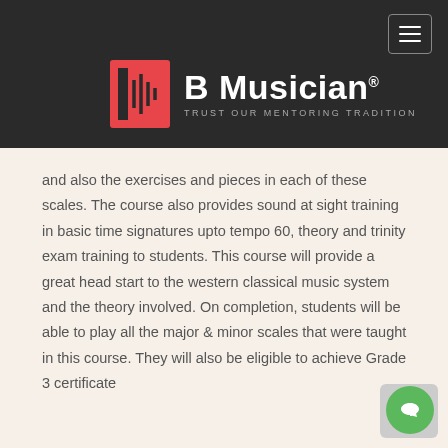[Figure (logo): B Musician logo with red stylized B letter with sound wave lines, white text 'B Musician' with registered trademark symbol, tagline 'TRUST OUR MENTORING TRADITION' on dark background]
and also the exercises and pieces in each of these scales. The course also provides sound at sight training in basic time signatures upto tempo 60, theory and trinity exam training to students. This course will provide a great head start to the western classical music system and the theory involved. On completion, students will be able to play all the major & minor scales that were taught in this course. They will also be eligible to achieve Grade 3 certificate